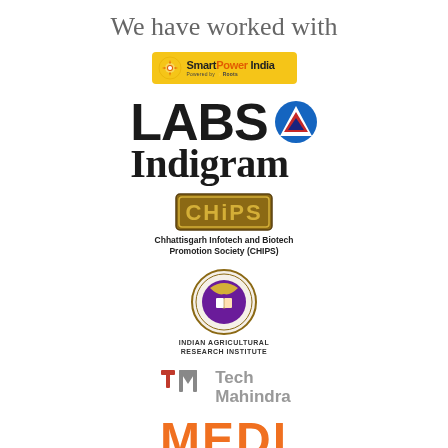We have worked with
[Figure (logo): SmartPower India logo - yellow/orange banner with sun icon]
[Figure (logo): LABS Indigram logo - large bold LABS text with blue triangle icon and Indigram in serif]
[Figure (logo): CHIPS logo - Chhattisgarh Infotech and Biotech Promotion Society (CHIPS) with green bordered badge]
Chhattisgarh Infotech and Biotech Promotion Society (CHIPS)
[Figure (logo): Indian Agricultural Research Institute circular emblem logo]
INDIAN AGRICULTURAL RESEARCH INSTITUTE
[Figure (logo): Tech Mahindra logo with red/grey T and M icon]
[Figure (logo): MEDI partial logo in orange - bottom of page]